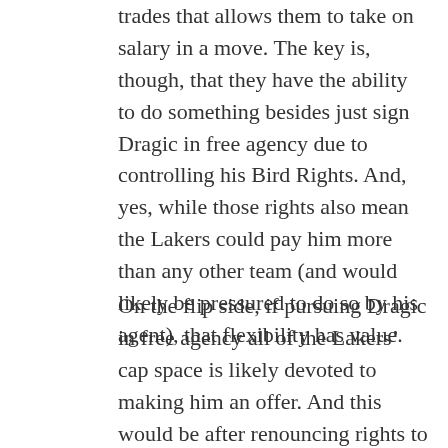trades that allows them to take on salary in a move. The key is, though, that they have the ability to do something besides just sign Dragic in free agency due to controlling his Bird Rights. And, yes, while those rights also mean the Lakers could pay him more than any other team (and would likely be pressured to do so by his agent), that flexibility has value.
On the flip side, if pursuing Dragic in free agency all of the Lakers' cap space is likely devoted to making him an offer. And this would be after renouncing rights to all their current free agents and not picking up Jordan Hill's option. So, presented in this context, would you rather only have the ability to pay Dragic or would you like to have the ability to